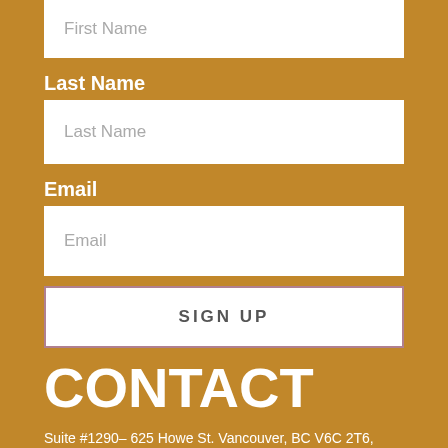First Name
Last Name
Last Name
Email
Email
SIGN UP
CONTACT
Suite #1290– 625 Howe St. Vancouver, BC V6C 2T6, Canada
Email: info@sonorogold.com